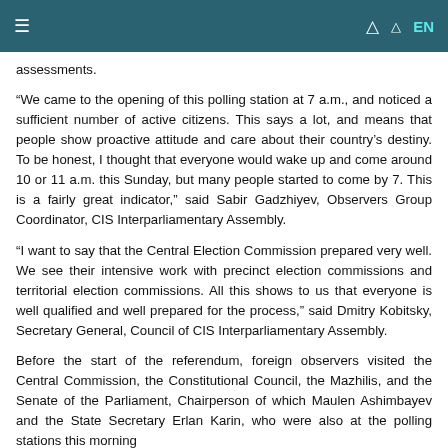EN
assessments.
“We came to the opening of this polling station at 7 a.m., and noticed a sufficient number of active citizens. This says a lot, and means that people show proactive attitude and care about their country’s destiny. To be honest, I thought that everyone would wake up and come around 10 or 11 a.m. this Sunday, but many people started to come by 7. This is a fairly great indicator,” said Sabir Gadzhiyev, Observers Group Coordinator, CIS Interparliamentary Assembly.
“I want to say that the Central Election Commission prepared very well. We see their intensive work with precinct election commissions and territorial election commissions. All this shows to us that everyone is well qualified and well prepared for the process,” said Dmitry Kobitsky, Secretary General, Council of CIS Interparliamentary Assembly.
Before the start of the referendum, foreign observers visited the Central Commission, the Constitutional Council, the Mazhilis, and the Senate of the Parliament, Chairperson of which Maulen Ashimbayev and the State Secretary Erlan Karin, who were also at the polling stations this morning